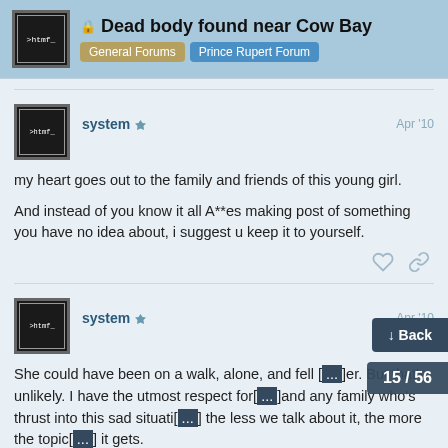Dead body found near Cow Bay | General Forums | Prince Rupert Forum
system · Apr '10
my heart goes out to the family and friends of this young girl.

And instead of you know it all A**es making post of something you have no idea about, i suggest u keep it to yourself.
system · Apr '10
She could have been on a walk, alone, and fell ... But that's unlikely. I have the utmost respect for ... and any family who's thrust into this sad situati... the less we talk about it, the more the topic... it gets.